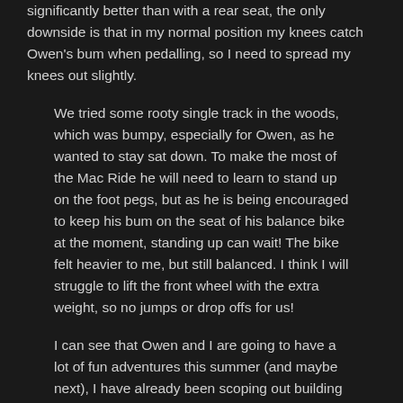significantly better than with a rear seat, the only downside is that in my normal position my knees catch Owen's bum when pedalling, so I need to spread my knees out slightly.
We tried some rooty single track in the woods, which was bumpy, especially for Owen, as he wanted to stay sat down. To make the most of the Mac Ride he will need to learn to stand up on the foot pegs, but as he is being encouraged to keep his bum on the seat of his balance bike at the moment, standing up can wait! The bike felt heavier to me, but still balanced. I think I will struggle to lift the front wheel with the extra weight, so no jumps or drop offs for us!
I can see that Owen and I are going to have a lot of fun adventures this summer (and maybe next), I have already been scoping out building sites so I can take him to watch diggers, and Little Rippers are run Mac Ride rideouts, which I am sure Owen will enjoy. Then of course in a few years, it will be Henry's turn!